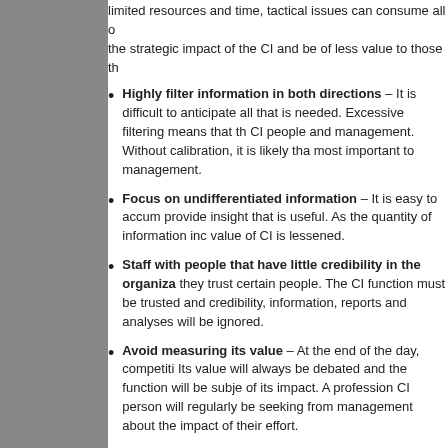limited resources and time, tactical issues can consume all of the strategic impact of the CI and be of less value to those th...
Highly filter information in both directions – It is difficult to anticipate all that is needed. Excessive filtering means that the CI people and management. Without calibration, it is likely tha... most important to management.
Focus on undifferentiated information – It is easy to accum... provide insight that is useful. As the quantity of information inc... value of CI is lessened.
Staff with people that have little credibility in the organiza... they trust certain people. The CI function must be trusted and... credibility, information, reports and analyses will be ignored.
Avoid measuring its value – At the end of the day, competiti... Its value will always be debated and the function will be subje... of its impact. A profession CI person will regularly be seeking... from management about the impact of their effort.
See my presentation on Competitive Intelligence Lessons at http://tin...
[Figure (other): Five empty star rating icons]